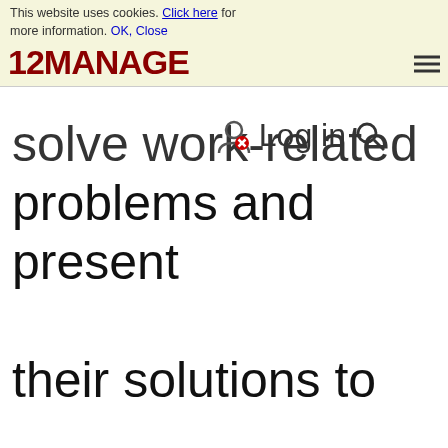This website uses cookies. Click here for more information. OK, Close | 12MANAGE [logo] [hamburger menu]
solve work-related problems and present their solutions to management in order to improve the performance of the organization, and